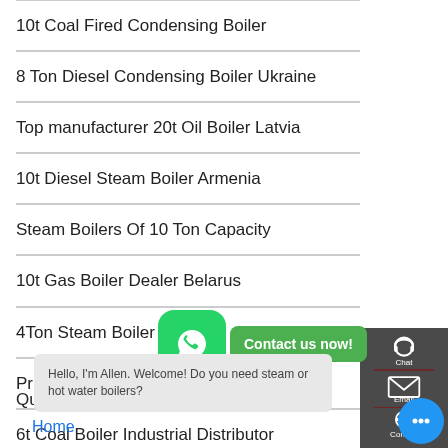10t Coal Fired Condensing Boiler
8 Ton Diesel Condensing Boiler Ukraine
Top manufacturer 20t Oil Boiler Latvia
10t Diesel Steam Boiler Armenia
Steam Boilers Of 10 Ton Capacity
10t Gas Boiler Dealer Belarus
4Ton Steam Boiler Price
Price 8 Ton Oil Powered Boiler Lithuania
6t Coal Boiler Industrial Distributor
Quick
Home
Hello, I'm Allen. Welcome! Do you need steam or hot water boilers?